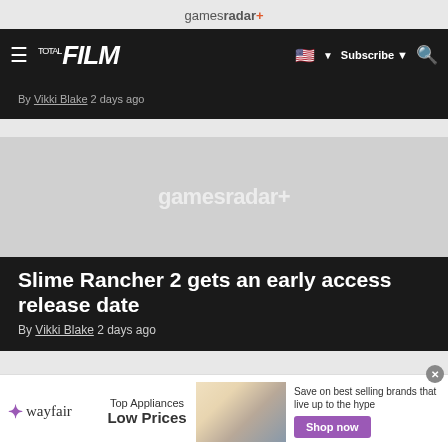gamesradar+
[Figure (screenshot): Navigation bar with hamburger menu, TOTAL FILM logo in white italic, US flag, Subscribe button, and search icon on dark background]
By Vikki Blake 2 days ago
[Figure (photo): Article thumbnail image placeholder with gamesradar+ watermark on light gray background]
Slime Rancher 2 gets an early access release date
By Vikki Blake 2 days ago
[Figure (infographic): Wayfair advertisement: Top Appliances Low Prices, with stove image and Shop now button in purple]